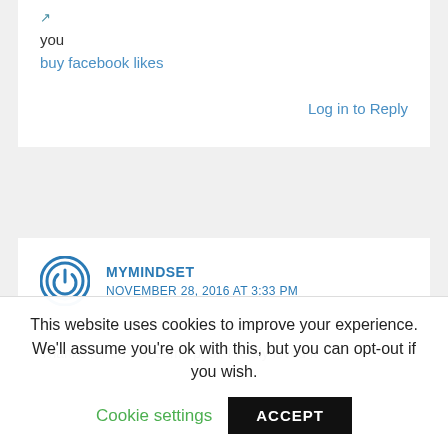you
buy facebook likes
Log in to Reply
MYMINDSET
NOVEMBER 28, 2016 AT 3:33 PM
Thanks for an awesome post, I really loved it
This website uses cookies to improve your experience. We'll assume you're ok with this, but you can opt-out if you wish.
Cookie settings
ACCEPT